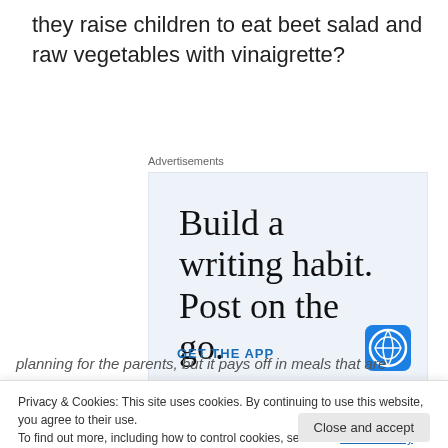they raise children to eat beet salad and raw vegetables with vinaigrette?
Advertisements
[Figure (other): Advertisement banner for a mobile app reading 'Build a writing habit. Post on the go.' with a 'GET THE APP' call to action and WordPress logo]
Privacy & Cookies: This site uses cookies. By continuing to use this website, you agree to their use.
To find out more, including how to control cookies, see here: Cookie Policy
planning for the parents, but it pays off in meals that are